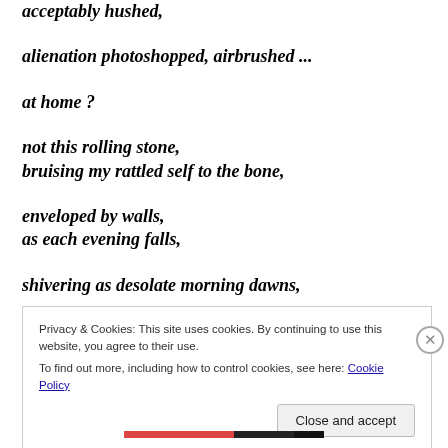acceptably hushed,
alienation photoshopped, airbrushed ...
at home ?
not this rolling stone,
bruising my rattled self to the bone,
enveloped by walls,
as each evening falls,
shivering as desolate morning dawns,
Privacy & Cookies: This site uses cookies. By continuing to use this website, you agree to their use. To find out more, including how to control cookies, see here: Cookie Policy